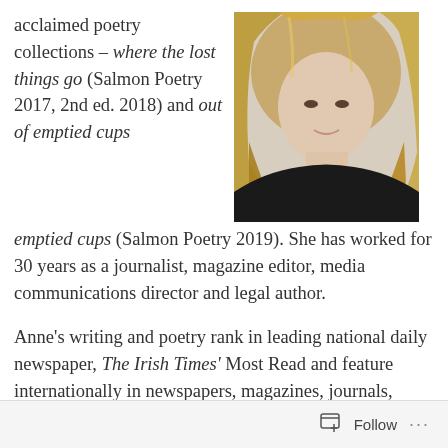acclaimed poetry collections – where the lost things go (Salmon Poetry 2017, 2nd ed. 2018) and out of emptied cups (Salmon Poetry 2019). She has worked for 30 years as a journalist, magazine editor, media communications director and legal author.
[Figure (photo): Portrait photo of a woman with long blonde/brown hair, wearing a black top, photographed against a light blurred background.]
Anne's writing and poetry rank in leading national daily newspaper, The Irish Times' Most Read and feature internationally in newspapers, magazines, journals, anthologies, broadcasts, podcasts, music albums, stage shows and art exhibitions – The Irish Poetry Reading Archive (James Joyce Library, University College
Follow ···